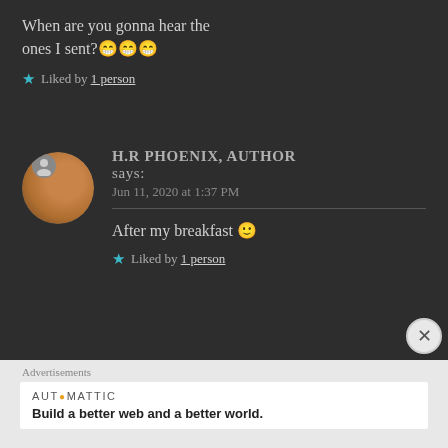When are you gonna hear the ones I sent? 😁😁😁
★ Liked by 1 person
H.R PHOENIX, AUTHOR says:
Jun 11, 2020 at 1:37 PM
After my breakfast 🙂
★ Liked by 1 person
Advertisements
AUTOMATTIC
Build a better web and a better world.